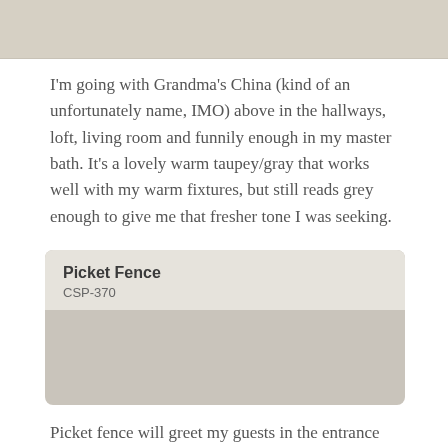[Figure (other): Paint color swatch, warm gray/taupe color at top of page]
I'm going with Grandma's China (kind of an unfortunately name, IMO) above in the hallways, loft, living room and funnily enough in my master bath. It's a lovely warm taupey/gray that works well with my warm fixtures, but still reads grey enough to give me that fresher tone I was seeking.
[Figure (other): Paint color swatch card for Picket Fence CSP-370, showing a warm light gray color]
Picket fence will greet my guests in the entrance and front